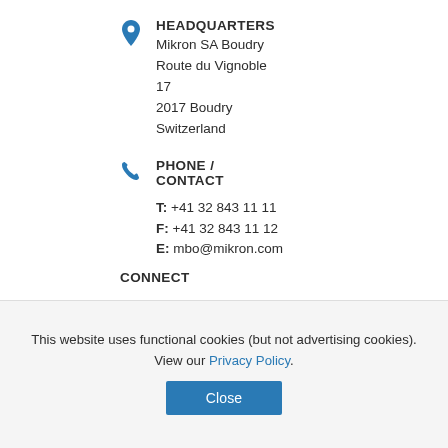HEADQUARTERS
Mikron SA Boudry
Route du Vignoble
17
2017 Boudry
Switzerland
PHONE / CONTACT
T: +41 32 843 11 11
F: +41 32 843 11 12
E: mbo@mikron.com
CONNECT
This website uses functional cookies (but not advertising cookies). View our Privacy Policy.
Close